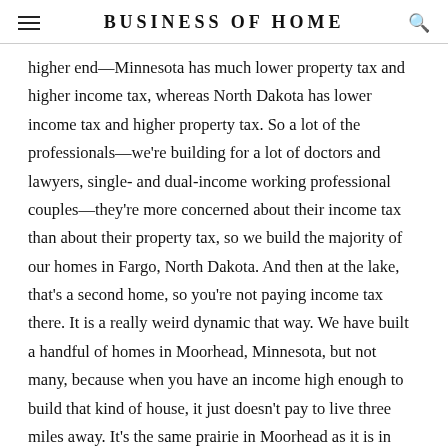BUSINESS OF HOME
higher end—Minnesota has much lower property tax and higher income tax, whereas North Dakota has lower income tax and higher property tax. So a lot of the professionals—we're building for a lot of doctors and lawyers, single- and dual-income working professional couples—they're more concerned about their income tax than about their property tax, so we build the majority of our homes in Fargo, North Dakota. And then at the lake, that's a second home, so you're not paying income tax there. It is a really weird dynamic that way. We have built a handful of homes in Moorhead, Minnesota, but not many, because when you have an income high enough to build that kind of house, it just doesn't pay to live three miles away. It's the same prairie in Moorhead as it is in